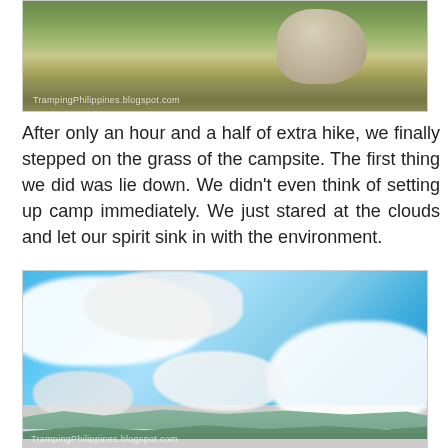[Figure (photo): Outdoor photo showing grassy hillside with large rocks and dense vegetation, with watermark 'TrampingPhilippines.blogspot.com' in lower left]
After only an hour and a half of extra hike, we finally stepped on the grass of the campsite. The first thing we did was lie down. We didn't even think of setting up camp immediately. We just stared at the clouds and let our spirit sink in with the environment.
[Figure (photo): Outdoor photo of dramatic cloudy sky over mountain landscape viewed from high elevation, with blue sky visible through large white clouds and green mountain ridges in the distance, watermark 'TrampingPhilippines.blogspot.com' visible at bottom]